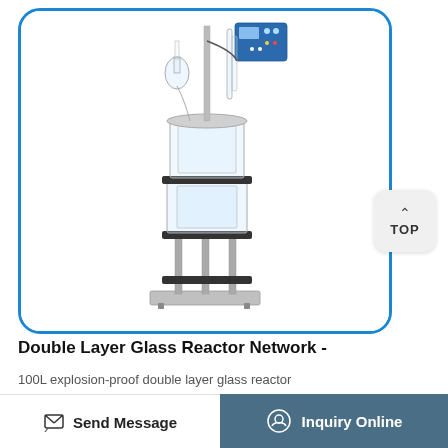[Figure (photo): Double layer glass reactor laboratory equipment on a stainless steel stand with a blue digital controller on top, multiple glass flask attachments, and a heavy base plate. The equipment is enclosed in a rounded blue-bordered card.]
Double Layer Glass Reactor Network -
100L explosion-proof double layer glass reactor
Send Message | Inquiry Online